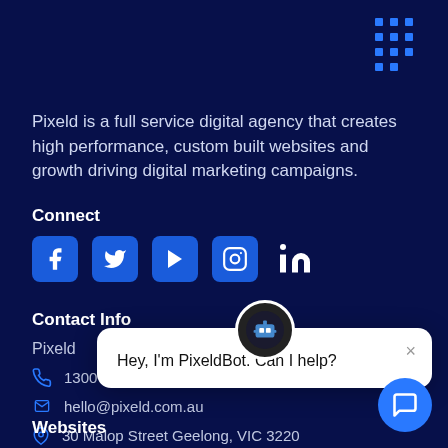Pixeld is a full service digital agency that creates high performance, custom built websites and growth driving digital marketing campaigns.
Connect
[Figure (illustration): Social media icons: Facebook, Twitter, YouTube, Instagram, LinkedIn]
Contact Info
Pixeld
1300 853 983
hello@pixeld.com.au
30 Malop Street Geelong, VIC 3220
[Figure (screenshot): Chat popup with PixeldBot avatar and message: Hey, I'm PixeldBot. Can I help?]
Websites